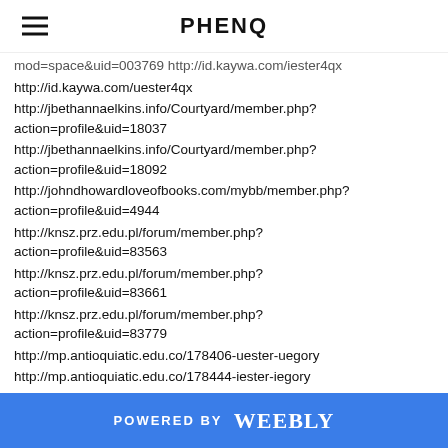PHENQ
mod=space&uid=003769 http://id.kaywa.com/iester4qx
http://id.kaywa.com/uester4qx
http://jbethannaelkins.info/Courtyard/member.php?action=profile&uid=18037
http://jbethannaelkins.info/Courtyard/member.php?action=profile&uid=18092
http://johndhowardloveofbooks.com/mybb/member.php?action=profile&uid=4944
http://knsz.prz.edu.pl/forum/member.php?action=profile&uid=83563
http://knsz.prz.edu.pl/forum/member.php?action=profile&uid=83661
http://knsz.prz.edu.pl/forum/member.php?action=profile&uid=83779
http://mp.antioquiatic.edu.co/178406-uester-uegory
http://mp.antioquiatic.edu.co/178444-iester-iegory
http://mp.antioquiatic.edu.co/178488-iestergc-iegorygc
http://n4g.com/user/home/phenqsale
http://onlinemanuals.txdot.gov/help/urlstatusgo.html?url=http://www.phenqsale.com/
POWERED BY weebly